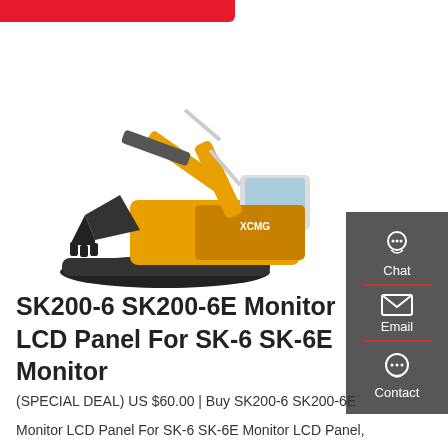[Figure (photo): Yellow XCMG large mining excavator/crawler excavator on white background, with large bucket arm extended upward.]
SK200-6 SK200-6E Monitor LCD Panel For SK-6 SK-6E Monitor
(SPECIAL DEAL) US $60.00 | Buy SK200-6 SK200-6E
Monitor LCD Panel For SK-6 SK-6E Monitor LCD Panel,